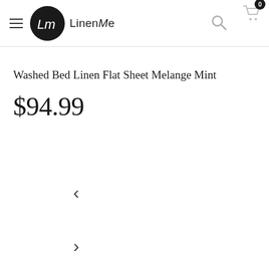LinenMe
Washed Bed Linen Flat Sheet Melange Mint
$94.99